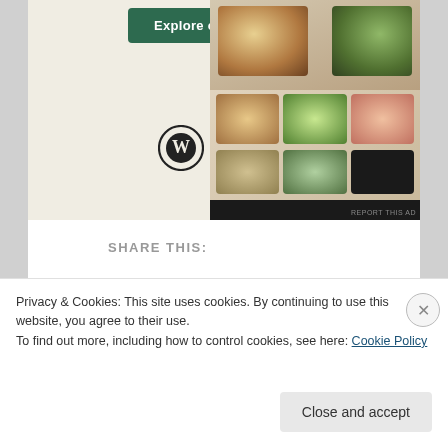[Figure (screenshot): Advertisement area showing 'Explore options' green button, WordPress logo, a small icon, and food photography images on the right side with 'REPORT THIS AD' text]
SHARE THIS:
[Figure (other): Twitter share button]
[Figure (other): Facebook share button]
Loading...
RELATED
Privacy & Cookies: This site uses cookies. By continuing to use this website, you agree to their use.
To find out more, including how to control cookies, see here: Cookie Policy
Close and accept